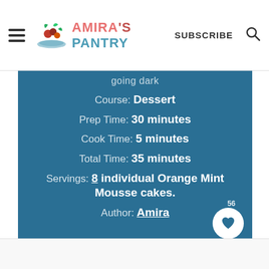AMIRA'S PANTRY — SUBSCRIBE
going dark
Course: Dessert
Prep Time: 30 minutes
Cook Time: 5 minutes
Total Time: 35 minutes
Servings: 8 individual Orange Mint Mousse cakes.
Author: Amira